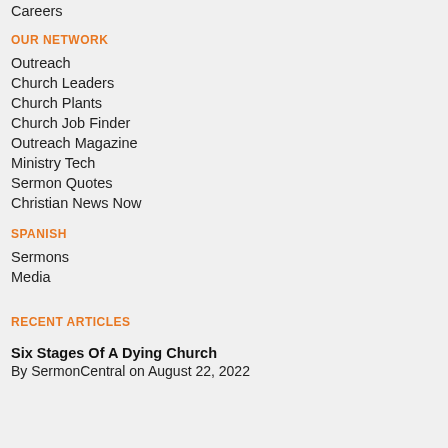Careers
OUR NETWORK
Outreach
Church Leaders
Church Plants
Church Job Finder
Outreach Magazine
Ministry Tech
Sermon Quotes
Christian News Now
SPANISH
Sermons
Media
RECENT ARTICLES
Six Stages Of A Dying Church
By SermonCentral on August 22, 2022